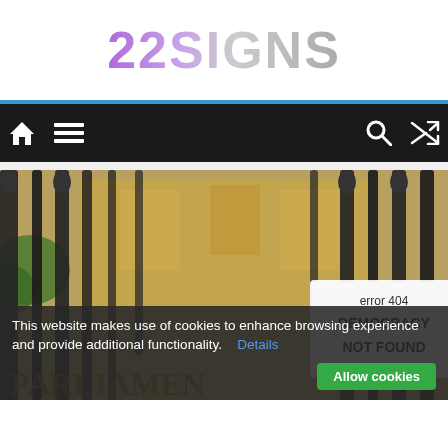[Figure (logo): 22SIGNS logo in large bold text with purple-to-gray gradient]
[Figure (screenshot): Navigation bar with home icon, menu icon on left; search and shuffle icons on right, on dark background]
[Figure (photo): Photo of ornate iron parliament gates with a sign reading 'error 404 DEMOCRACY NOT FOUND', a historic building visible in background. Bottom of image shows text partially reading PARLIAMENT.]
This website makes use of cookies to enhance browsing experience and provide additional functionality.  Details  Allow cookies